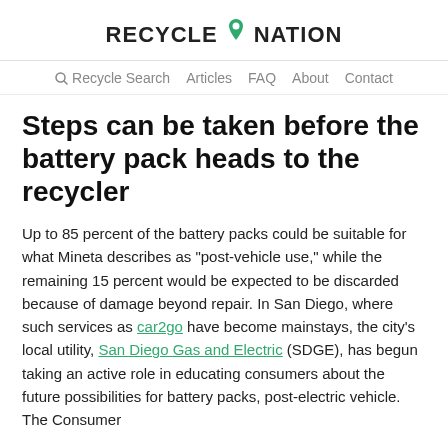RECYCLE NATION
Recycle Search  Articles  FAQ  About  Contact
Steps can be taken before the battery pack heads to the recycler
Up to 85 percent of the battery packs could be suitable for what Mineta describes as “post-vehicle use,” while the remaining 15 percent would be expected to be discarded because of damage beyond repair. In San Diego, where such services as car2go have become mainstays, the city’s local utility, San Diego Gas and Electric (SDGE), has begun taking an active role in educating consumers about the future possibilities for battery packs, post-electric vehicle. The Consumer